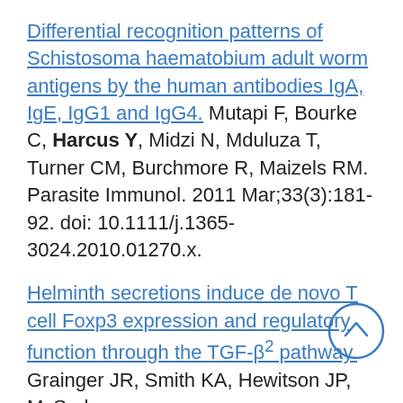Differential recognition patterns of Schistosoma haematobium adult worm antigens by the human antibodies IgA, IgE, IgG1 and IgG4. Mutapi F, Bourke C, Harcus Y, Midzi N, Mduluza T, Turner CM, Burchmore R, Maizels RM. Parasite Immunol. 2011 Mar;33(3):181-92. doi: 10.1111/j.1365-3024.2010.01270.x.
Helminth secretions induce de novo T cell Foxp3 expression and regulatory function through the TGF-β2 pathway. Grainger JR, Smith KA, Hewitson JP, McSorley